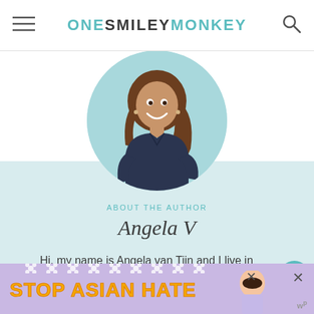ONE SMILEY MONKEY
[Figure (photo): Circular profile photo of Angela V, a woman with long brown hair wearing a dark navy wrap top, smiling, on a teal/mint circular background]
ABOUT THE AUTHOR
Angela V
Hi, my name is Angela van Tijn and I live in Vancouver, Canada with my wonderful husband, our two boys and our puppy. I am the founder and primary contributor behind One Smiley Monkey.
[Figure (screenshot): Advertisement banner: STOP ASIAN HATE with cartoon character, flower decorations, close buttons, and WordPress logo]